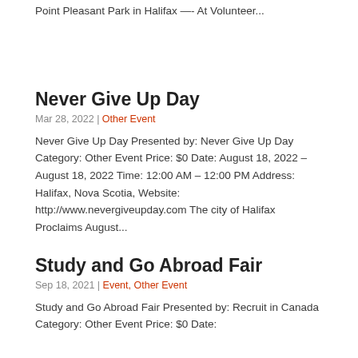Point Pleasant Park in Halifax —- At Volunteer...
Never Give Up Day
Mar 28, 2022 | Other Event
Never Give Up Day Presented by: Never Give Up Day Category: Other Event Price: $0 Date: August 18, 2022 – August 18, 2022 Time: 12:00 AM – 12:00 PM Address: Halifax, Nova Scotia, Website: http://www.nevergiveupday.com The city of Halifax Proclaims August...
Study and Go Abroad Fair
Sep 18, 2021 | Event, Other Event
Study and Go Abroad Fair Presented by: Recruit in Canada Category: Other Event Price: $0 Date: